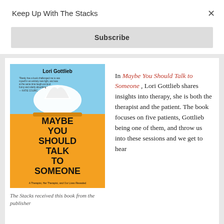Keep Up With The Stacks
Subscribe
[Figure (photo): Book cover of 'Maybe You Should Talk to Someone' by Lori Gottlieb. Orange and blue cover with a tissue box graphic. Subtitle: A Therapist, Her Therapist, and Our Lives Revealed.]
The Stacks received this book from the publisher
In Maybe You Should Talk to Someone , Lori Gottlieb shares insights into therapy, she is both the therapist and the patient. The book focuses on five patients, Gottlieb being one of them, and throw us into these sessions and we get to hear